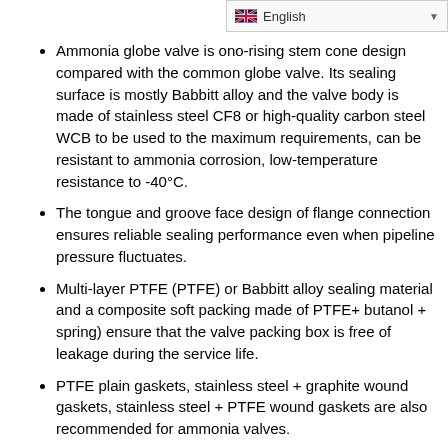English
Ammonia globe valve is ono-rising stem cone design compared with the common globe valve. Its sealing surface is mostly Babbitt alloy and the valve body is made of stainless steel CF8 or high-quality carbon steel WCB to be used to the maximum requirements, can be resistant to ammonia corrosion, low-temperature resistance to -40°C.
The tongue and groove face design of flange connection ensures reliable sealing performance even when pipeline pressure fluctuates.
Multi-layer PTFE (PTFE) or Babbitt alloy sealing material and a composite soft packing made of PTFE+ butanol + spring) ensure that the valve packing box is free of leakage during the service life.
PTFE plain gaskets, stainless steel + graphite wound gaskets, stainless steel + PTFE wound gaskets are also recommended for ammonia valves.